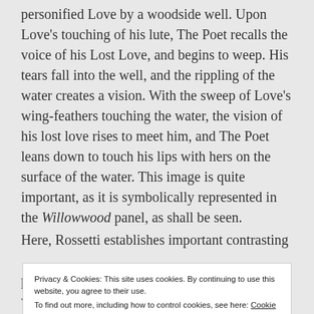personified Love by a woodside well. Upon Love's touching of his lute, The Poet recalls the voice of his Lost Love, and begins to weep. His tears fall into the well, and the rippling of the water creates a vision. With the sweep of Love's wing-feathers touching the water, the vision of his lost love rises to meet him, and The Poet leans down to touch his lips with hers on the surface of the water. This image is quite important, as it is symbolically represented in the Willowwood panel, as shall be seen.
Here, Rossetti establishes important contrasting
Privacy & Cookies: This site uses cookies. By continuing to use this website, you agree to their use. To find out more, including how to control cookies, see here: Cookie Policy
poetry such as Dante Alighieri's Vita Nuova, which is